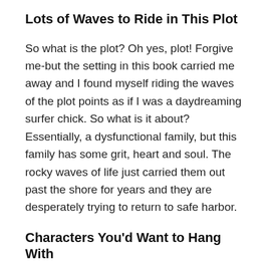Lots of Waves to Ride in This Plot
So what is the plot? Oh yes, plot! Forgive me-but the setting in this book carried me away and I found myself riding the waves of the plot points as if I was a daydreaming surfer chick. So what is it about? Essentially, a dysfunctional family, but this family has some grit, heart and soul. The rocky waves of life just carried them out past the shore for years and they are desperately trying to return to safe harbor.
Characters You'd Want to Hang With
When I went looking for books to read for